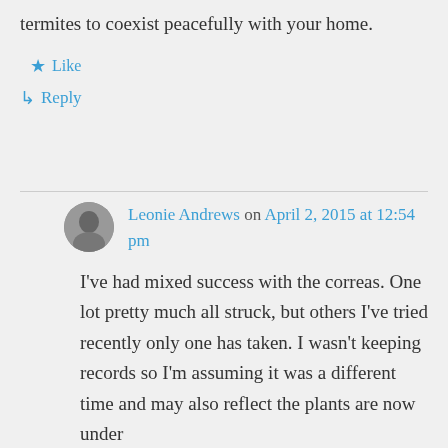your plants to go in soon and for the termites to coexist peacefully with your home.
★ Like
↳ Reply
Leonie Andrews on April 2, 2015 at 12:54 pm
I've had mixed success with the correas. One lot pretty much all struck, but others I've tried recently only one has taken. I wasn't keeping records so I'm assuming it was a different time and may also reflect the plants are now under